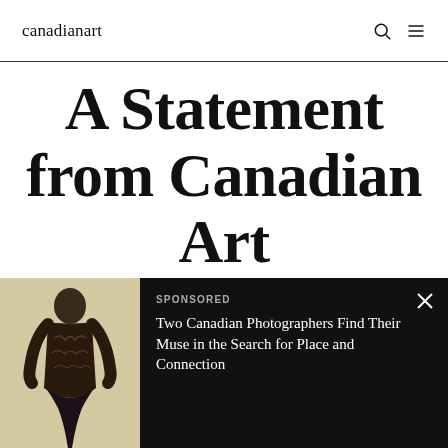canadianart
A Statement from Canadian Art
[Figure (photo): A figure of a person with tattoos on their back, wearing dark clothing, against a light background]
SPONSORED
Two Canadian Photographers Find Their Muse in the Search for Place and Connection